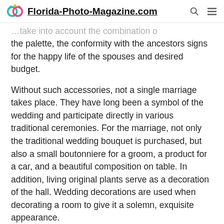Florida-Photo-Magazine.com
the palette, the conformity with the ancestors signs for the happy life of the spouses and desired budget.
Without such accessories, not a single marriage takes place. They have long been a symbol of the wedding and participate directly in various traditional ceremonies. For the marriage, not only the traditional wedding bouquet is purchased, but also a small boutonniere for a groom, a product for a car, and a beautiful composition on table. In addition, living original plants serve as a decoration of the hall. Wedding decorations are used when decorating a room to give it a solemn, exquisite appearance.